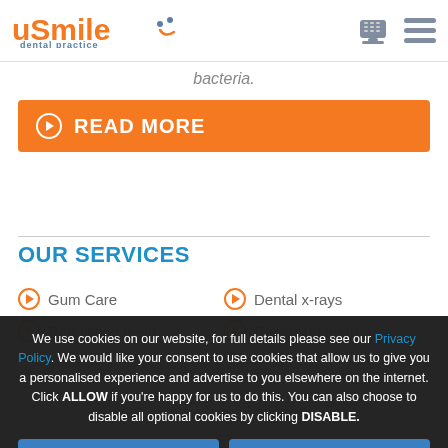uSmile dental practice
bacteria.
READ MORE
OUR SERVICES
Gum Care
Dental x-rays
Rebuilding teeth
Replacing teeth
We use cookies on our website, for full details please see our Privacy Policy. We would like your consent to use cookies that allow us to give you a personalised experience and advertise to you elsewhere on the internet. Click ALLOW if you're happy for us to do this. You can also choose to disable all optional cookies by clicking DISABLE.
Allow
Disable